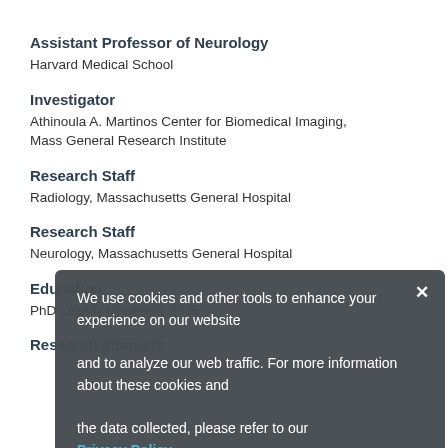Assistant Professor of Neurology
Harvard Medical School
Investigator
Athinoula A. Martinos Center for Biomedical Imaging, Mass General Research Institute
Research Staff
Radiology, Massachusetts General Hospital
Research Staff
Neurology, Massachusetts General Hospital
Education
PhD Leibniz University 2005
Research Interests
We use cookies and other tools to enhance your experience on our website and to analyze our web traffic. For more information about these cookies and the data collected, please refer to our Privacy Policy.